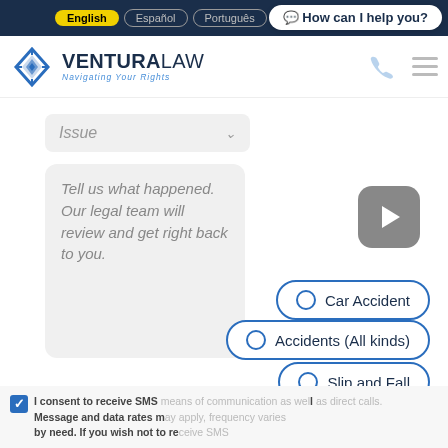English | Español | Português
💬 How can I help you?
[Figure (logo): Ventura Law logo with diamond icon and tagline 'Navigating Your Rights']
Issue (dropdown)
Tell us what happened. Our legal team will review and get right back to you.
Car Accident
Accidents (All kinds)
Slip and Fall
I consent to receive SMS means of communication as well as direct calls. Message and data rates may apply, frequency varies by need. If you wish not to receive SMS